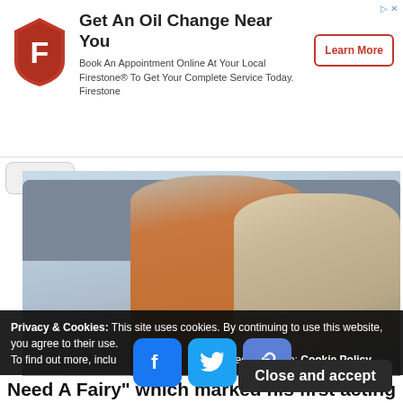[Figure (infographic): Firestone advertisement banner with logo, title 'Get An Oil Change Near You', subtitle text, and 'Learn More' button]
[Figure (photo): Three young Asian men posing together on a sofa, smiling, wearing casual sweaters]
Privacy & Cookies: This site uses cookies. By continuing to use this website, you agree to their use. To find out more, including how to control cookies, see here: Cookie Policy
Close and accept
Need A Fairy" which marked his first acting